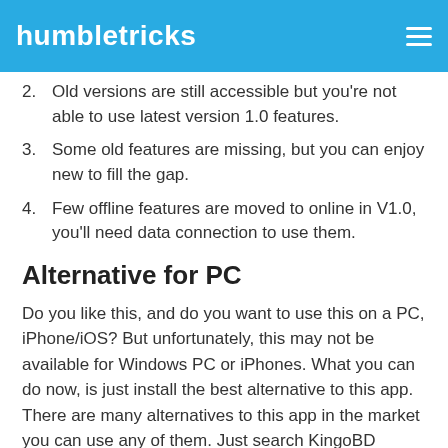humbletricks
2. Old versions are still accessible but you're not able to use latest version 1.0 features.
3. Some old features are missing, but you can enjoy new to fill the gap.
4. Few offline features are moved to online in V1.0, you'll need data connection to use them.
Alternative for PC
Do you like this, and do you want to use this on a PC, iPhone/iOS? But unfortunately, this may not be available for Windows PC or iPhones. What you can do now, is just install the best alternative to this app. There are many alternatives to this app in the market you can use any of them. Just search KingoBD Sports XYZ Alternative on Google to find it. There another option for using this on PC, you can use any APK